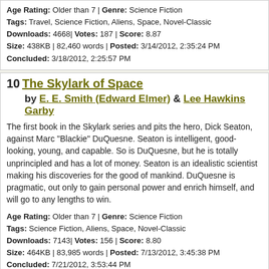Age Rating: Older than 7 | Genre: Science Fiction
Tags: Travel, Science Fiction, Aliens, Space, Novel-Classic
Downloads: 4668| Votes: 187 | Score: 8.87
Size: 438KB | 82,460 words | Posted: 3/14/2012, 2:35:24 PM
Concluded: 3/18/2012, 2:25:57 PM
10 The Skylark of Space
by E. E. Smith (Edward Elmer) & Lee Hawkins Garby
The first book in the Skylark series and pits the hero, Dick Seaton, against Marc "Blackie" DuQuesne. Seaton is intelligent, good-looking, young, and capable. So is DuQuesne, but he is totally unprincipled and has a lot of money. Seaton is an idealistic scientist making his discoveries for the good of mankind. DuQuesne is pragmatic, out only to gain personal power and enrich himself, and will go to any lengths to win.
Age Rating: Older than 7 | Genre: Science Fiction
Tags: Science Fiction, Aliens, Space, Novel-Classic
Downloads: 7143| Votes: 156 | Score: 8.80
Size: 464KB | 83,985 words | Posted: 7/13/2012, 3:45:38 PM
Concluded: 7/21/2012, 3:53:44 PM
* Voting is on, but not enough votes to show score yet
1 2 3 4 5 6